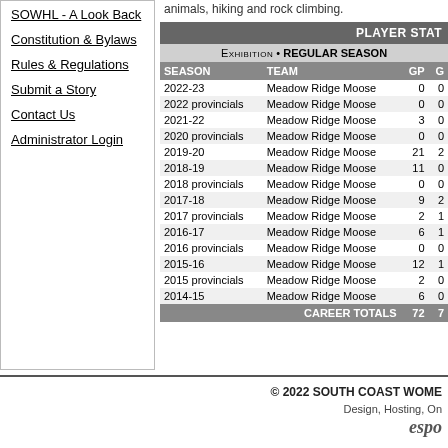SOWHL - A Look Back
Constitution & Bylaws
Rules & Regulations
Submit a Story
Contact Us
Administrator Login
animals, hiking and rock climbing.
| SEASON | TEAM | GP | G |
| --- | --- | --- | --- |
| 2022-23 | Meadow Ridge Moose | 0 | 0 |
| 2022 provincials | Meadow Ridge Moose | 0 | 0 |
| 2021-22 | Meadow Ridge Moose | 3 | 0 |
| 2020 provincials | Meadow Ridge Moose | 0 | 0 |
| 2019-20 | Meadow Ridge Moose | 21 | 2 |
| 2018-19 | Meadow Ridge Moose | 11 | 0 |
| 2018 provincials | Meadow Ridge Moose | 0 | 0 |
| 2017-18 | Meadow Ridge Moose | 9 | 2 |
| 2017 provincials | Meadow Ridge Moose | 2 | 1 |
| 2016-17 | Meadow Ridge Moose | 6 | 1 |
| 2016 provincials | Meadow Ridge Moose | 0 | 0 |
| 2015-16 | Meadow Ridge Moose | 12 | 1 |
| 2015 provincials | Meadow Ridge Moose | 2 | 0 |
| 2014-15 | Meadow Ridge Moose | 6 | 0 |
| CAREER TOTALS |  | 72 | 7 |
© 2022 SOUTH COAST WOME... Design, Hosting, On... espo...